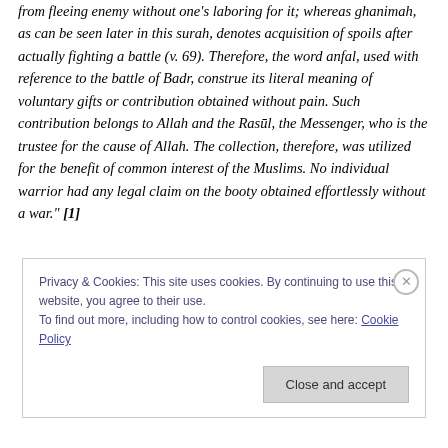from fleeing enemy without one's laboring for it; whereas ghanimah, as can be seen later in this surah, denotes acquisition of spoils after actually fighting a battle (v. 69). Therefore, the word anfal, used with reference to the battle of Badr, construe its literal meaning of voluntary gifts or contribution obtained without pain. Such contribution belongs to Allah and the Rasūl, the Messenger, who is the trustee for the cause of Allah. The collection, therefore, was utilized for the benefit of common interest of the Muslims. No individual warrior had any legal claim on the booty obtained effortlessly without a war." [1]
Privacy & Cookies: This site uses cookies. By continuing to use this website, you agree to their use.
To find out more, including how to control cookies, see here: Cookie Policy